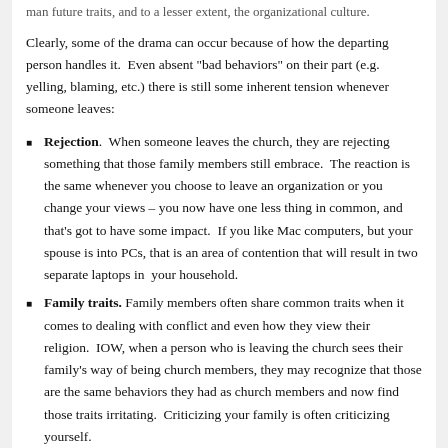man future traits, and to a lesser extent, the organizational culture.
Clearly, some of the drama can occur because of how the departing person handles it. Even absent "bad behaviors" on their part (e.g. yelling, blaming, etc.) there is still some inherent tension whenever someone leaves:
Rejection. When someone leaves the church, they are rejecting something that those family members still embrace. The reaction is the same whenever you choose to leave an organization or you change your views – you now have one less thing in common, and that's got to have some impact. If you like Mac computers, but your spouse is into PCs, that is an area of contention that will result in two separate laptops in your household.
Family traits. Family members often share common traits when it comes to dealing with conflict and even how they view their religion. IOW, when a person who is leaving the church sees their family's way of being church members, they may recognize that those are the same behaviors they had as church members and now find those traits irritating. Criticizing your family is often criticizing yourself.